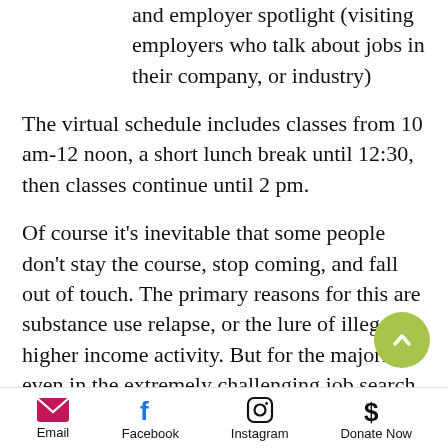and employer spotlight (visiting employers who talk about jobs in their company, or industry)
The virtual schedule includes classes from 10 am-12 noon, a short lunch break until 12:30, then classes continue until 2 pm.
Of course it’s inevitable that some people don’t stay the course, stop coming, and fall out of touch. The primary reasons for this are substance use relapse, or the lure of illegal higher income activity. But for the majority, even in the extremely challenging job search environment of the pandemic and
Email  Facebook  Instagram  Donate Now